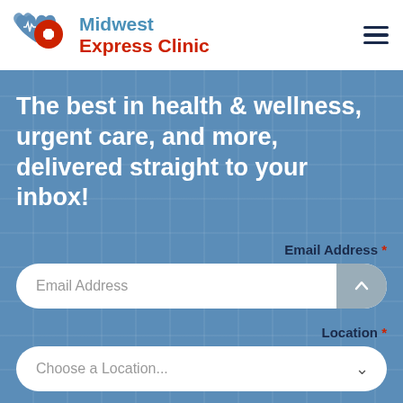[Figure (logo): Midwest Express Clinic logo with blue heart and red cross icon, followed by text 'Midwest Express Clinic']
The best in health & wellness, urgent care, and more, delivered straight to your inbox!
Email Address *
Email Address (input field placeholder)
Location *
Choose a Location... (dropdown placeholder)